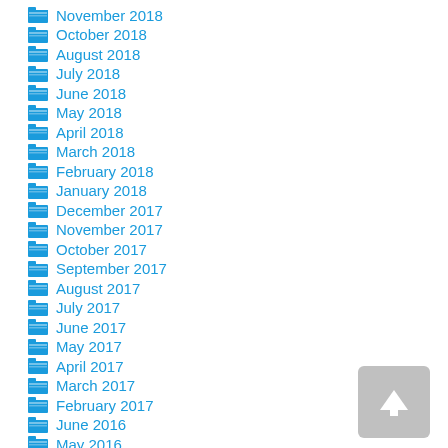November 2018
October 2018
August 2018
July 2018
June 2018
May 2018
April 2018
March 2018
February 2018
January 2018
December 2017
November 2017
October 2017
September 2017
August 2017
July 2017
June 2017
May 2017
April 2017
March 2017
February 2017
June 2016
May 2016